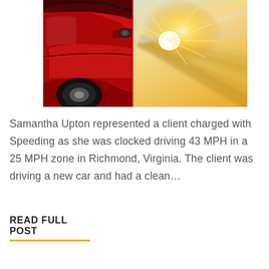[Figure (photo): A red sports car photographed from the side with motion blur effect and bright sunlight/lens flare on a road, conveying speed.]
Samantha Upton represented a client charged with Speeding as she was clocked driving 43 MPH in a 25 MPH zone in Richmond, Virginia. The client was driving a new car and had a clean…
READ FULL POST